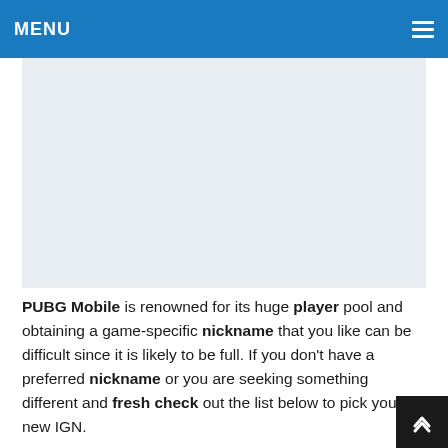MENU
[Figure (other): Advertisement placeholder area, light gray background]
PUBG Mobile is renowned for its huge player pool and obtaining a game-specific nickname that you like can be difficult since it is likely to be full. If you don't have a preferred nickname or you are seeking something different and fresh check out the list below to pick your new IGN.
BGMI players only given a nickname at the start of the game , the name can be changed free the first